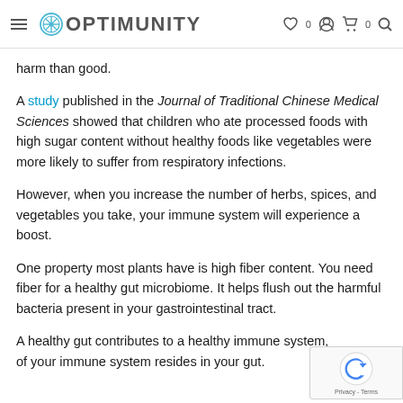OPTIMUNITY
harm than good.
A study published in the Journal of Traditional Chinese Medical Sciences showed that children who ate processed foods with high sugar content without healthy foods like vegetables were more likely to suffer from respiratory infections.
However, when you increase the number of herbs, spices, and vegetables you take, your immune system will experience a boost.
One property most plants have is high fiber content. You need fiber for a healthy gut microbiome. It helps flush out the harmful bacteria present in your gastrointestinal tract.
A healthy gut contributes to a healthy immune system, of your immune system resides in your gut.